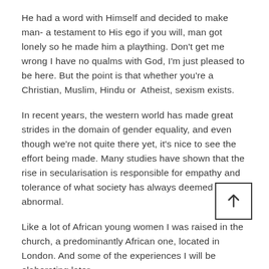He had a word with Himself and decided to make man- a testament to His ego if you will, man got lonely so he made him a plaything. Don't get me wrong I have no qualms with God, I'm just pleased to be here. But the point is that whether you're a Christian, Muslim, Hindu or Atheist, sexism exists.
In recent years, the western world has made great strides in the domain of gender equality, and even though we're not quite there yet, it's nice to see the effort being made. Many studies have shown that the rise in secularisation is responsible for empathy and tolerance of what society has always deemed as abnormal.
Like a lot of African young women I was raised in the church, a predominantly African one, located in London. And some of the experiences I will be elaborating later